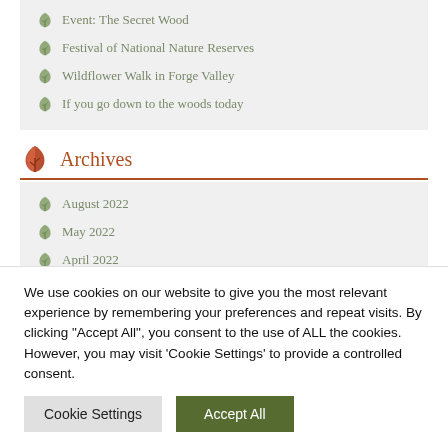Event: The Secret Wood
Festival of National Nature Reserves
Wildflower Walk in Forge Valley
If you go down to the woods today
Archives
August 2022
May 2022
April 2022
February 2022
July 2021
June 2021
We use cookies on our website to give you the most relevant experience by remembering your preferences and repeat visits. By clicking "Accept All", you consent to the use of ALL the cookies. However, you may visit 'Cookie Settings' to provide a controlled consent.